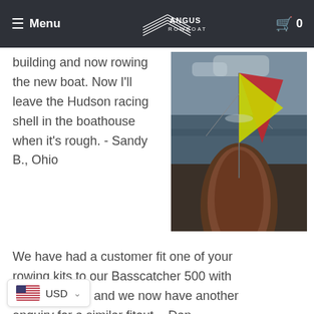Menu | ANGUS ROWBOATS | 0
building and now rowing the new boat. Now I'll leave the Hudson racing shell in the boathouse when it's rough. - Sandy B., Ohio
[Figure (photo): Photo taken from the bow of a wooden rowboat on a lake, showing a colorful red and yellow sail/flag with water and cloudy sky in background]
We have had a customer fit one of your rowing kits to our Basscatcher 500 with great success and we now have another enquiry for a similar fitout. - Dan,